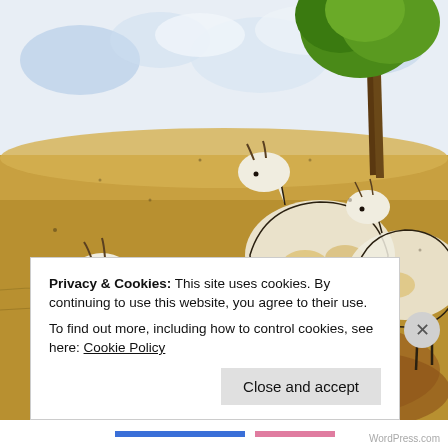[Figure (illustration): Watercolor and ink sketch of three white goats grazing near a tree in a dry landscape. The goats are depicted with loose ink lines and watercolor washes in yellows, browns, and whites. A green tree is visible in the upper right. At the bottom of the illustration, handwritten text reads 'Rosi Jri Shoyla'.]
Privacy & Cookies: This site uses cookies. By continuing to use this website, you agree to their use.
To find out more, including how to control cookies, see here: Cookie Policy